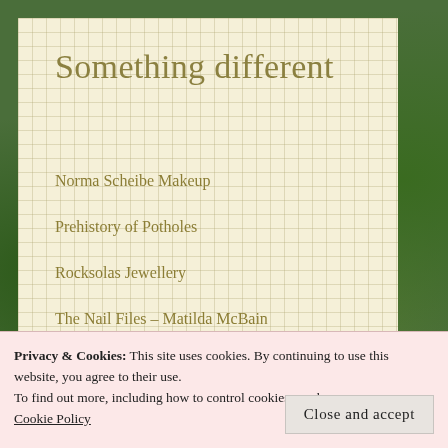Something different
Norma Scheibe Makeup
Prehistory of Potholes
Rocksolas Jewellery
The Nail Files – Matilda McBain
Privacy & Cookies: This site uses cookies. By continuing to use this website, you agree to their use.
To find out more, including how to control cookies, see here: Cookie Policy
Close and accept